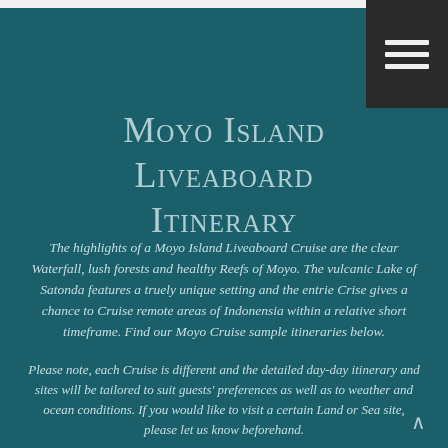Moyo Island Liveaboard Itinerary
The highlights of a Moyo Island Liveaboard Cruise are the clear Waterfall, lush forests and healthy Reefs of Moyo. The vulcanic Lake of Satonda features a truely unique setting and the entrie Crise gives a chance to Cruise remote areas of Indonensia within a relative short timeframe. Find our Moyo Cruise sample itineraries below.
Please note, each Cruise is different and the detailed day-day itinerary and sites will be tailored to suit guests' preferences as well as to weather and ocean conditions. If you would like to visit a certain Land or Sea site, please let us know beforehand.